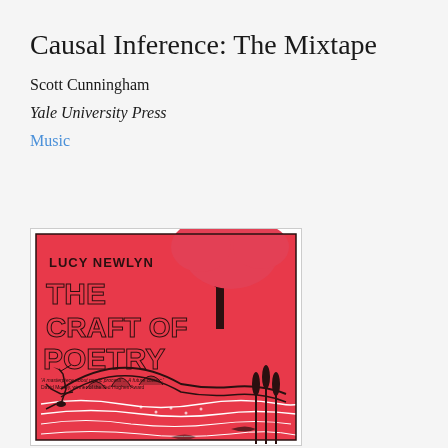Causal Inference: The Mixtape
Scott Cunningham
Yale University Press
Music
[Figure (illustration): Book cover of 'The Craft of Poetry' by Lucy Newlyn, featuring bold red and black linocut-style artwork with a tree, a bridge, a heron, a river with fish, and reed plants. Text reads: 'LUCY NEWLYN', 'THE CRAFT OF POETRY', and a quote: 'A masterpiece about poetic process ... A future classic.' David Morley, winner of the Ted Hughes Award]